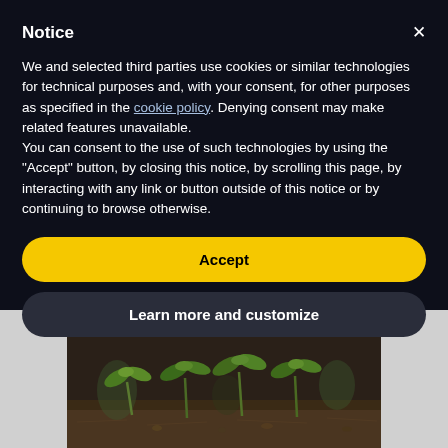Notice
We and selected third parties use cookies or similar technologies for technical purposes and, with your consent, for other purposes as specified in the cookie policy. Denying consent may make related features unavailable.
You can consent to the use of such technologies by using the “Accept” button, by closing this notice, by scrolling this page, by interacting with any link or button outside of this notice or by continuing to browse otherwise.
Accept
Learn more and customize
[Figure (photo): Close-up photo of small green seedlings sprouting from dark soil, centered with light gray strips on left and right sides]